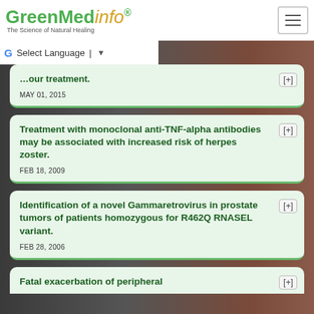GreenMedInfo — The Science of Natural Healing
Select Language ▼
[partial card] ...our treatment. MAY 01, 2015
Treatment with monoclonal anti-TNF-alpha antibodies may be associated with increased risk of herpes zoster.
FEB 18, 2009
Identification of a novel Gammaretrovirus in prostate tumors of patients homozygous for R462Q RNASEL variant.
FEB 28, 2006
Fatal exacerbation of peripheral